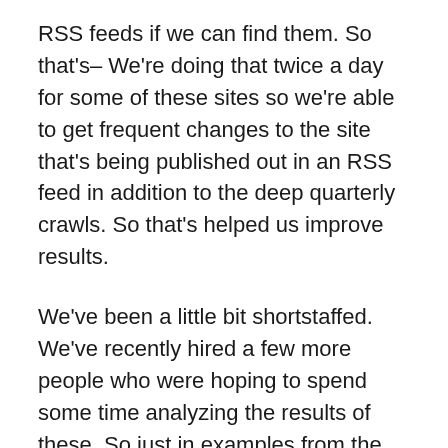RSS feeds if we can find them. So that's– We're doing that twice a day for some of these sites so we're able to get frequent changes to the site that's being published out in an RSS feed in addition to the deep quarterly crawls. So that's helped us improve results.
We've been a little bit shortstaffed. We've recently hired a few more people who were hoping to spend some time analyzing the results of these. So just in examples from the archive, Emojipedia is one of them. Let's see.
Nikki is our expert in why some of these sites are selected so I won't go into the reasons why. But this one decodes the meanings and definitions of the emoji characters, providing insight on the